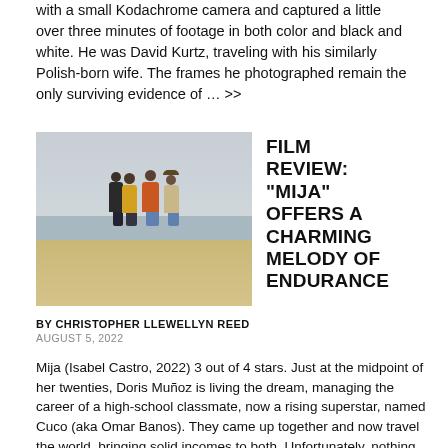with a small Kodachrome camera and captured a little over three minutes of footage in both color and black and white. He was David Kurtz, traveling with his similarly Polish-born wife. The frames he photographed remain the only surviving evidence of … >>
[Figure (photo): Four people standing with their backs to the camera on a beach, hugging each other, with ocean waves in the background. Two wear yellow/orange tops and two wear dark tops and jeans.]
FILM REVIEW: "MIJA" OFFERS A CHARMING MELODY OF ENDURANCE
BY CHRISTOPHER LLEWELLYN REED
AUGUST 5, 2022
Mija (Isabel Castro, 2022) 3 out of 4 stars. Just at the midpoint of her twenties, Doris Muñoz is living the dream, managing the career of a high-school classmate, now a rising superstar, named Cuco (aka Omar Banos). They came up together and now travel the world, bringing solid incomes to both. Unfortunately, nothing good ever lasts forever. Such is the story of Mija. Isabel Castro's debut...